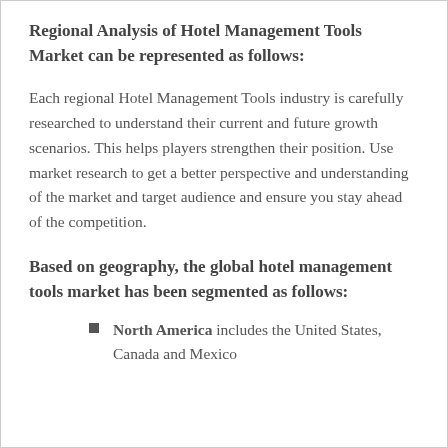Regional Analysis of Hotel Management Tools Market can be represented as follows:
Each regional Hotel Management Tools industry is carefully researched to understand their current and future growth scenarios. This helps players strengthen their position. Use market research to get a better perspective and understanding of the market and target audience and ensure you stay ahead of the competition.
Based on geography, the global hotel management tools market has been segmented as follows:
North America includes the United States, Canada and Mexico